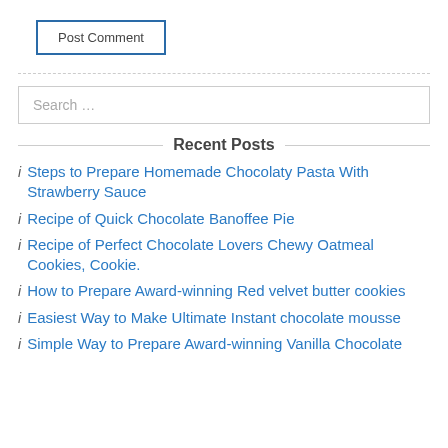Post Comment
Steps to Prepare Homemade Chocolaty Pasta With Strawberry Sauce
Recipe of Quick Chocolate Banoffee Pie
Recipe of Perfect Chocolate Lovers Chewy Oatmeal Cookies, Cookie.
How to Prepare Award-winning Red velvet butter cookies
Easiest Way to Make Ultimate Instant chocolate mousse
Simple Way to Prepare Award-winning Vanilla Chocolate